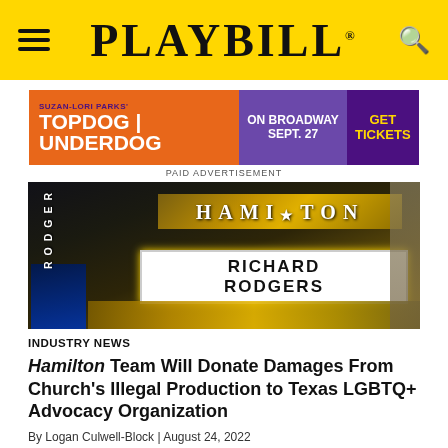PLAYBILL
[Figure (infographic): Topdog|Underdog Broadway advertisement banner: orange left section with 'SUZAN-LORI PARKS' TOPDOG|UNDERDOG', purple middle with 'ON BROADWAY SEPT. 27', dark purple right with 'GET TICKETS']
PAID ADVERTISEMENT
[Figure (photo): Nighttime photo of the Richard Rodgers Theatre marquee showing Hamilton signage with the show's star logo and 'RICHARD RODGERS' in lights]
INDUSTRY NEWS
Hamilton Team Will Donate Damages From Church's Illegal Production to Texas LGBTQ+ Advocacy Organization
By Logan Culwell-Block | August 24, 2022
The unauthorized performances of the Lin-Manuel Miranda musical have followed by reports that included casting...